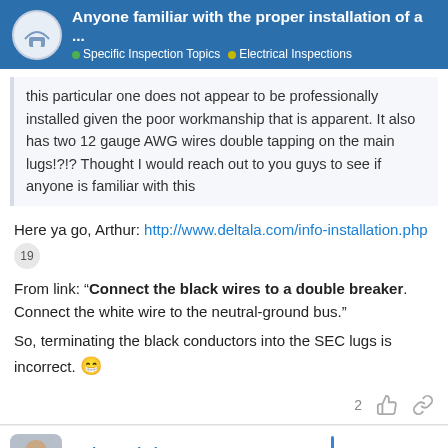Anyone familiar with the proper installation of a ... | Specific Inspection Topics | Electrical Inspections
this particular one does not appear to be professionally installed given the poor workmanship that is apparent. It also has two 12 gauge AWG wires double tapping on the main lugs!?!? Thought I would reach out to you guys to see if anyone is familiar with this
Here ya go, Arthur: http://www.deltala.com/info-installation.php
19
From link: “Connect the black wires to a double breaker. Connect the white wire to the neutral-ground bus.”
So, terminating the black conductors into the SEC lugs is incorrect. 😄
2
Arthur Duhaime, CPI, RMS, CRT
aduhaime
1 / 10